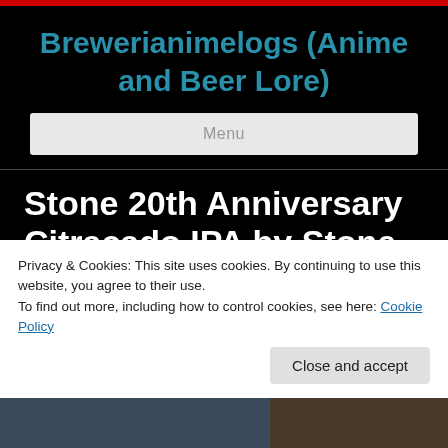Brewerianimelogs (Anime and Beer Lore)
Menu
Stone 20th Anniversary Citracado IPA by Stone brewing
Privacy & Cookies: This site uses cookies. By continuing to use this website, you agree to their use.
To find out more, including how to control cookies, see here: Cookie Policy
Close and accept